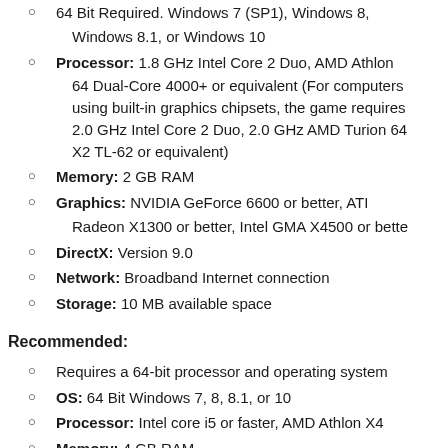OS: 64 Bit Required. Windows 7 (SP1), Windows 8, Windows 8.1, or Windows 10
Processor: 1.8 GHz Intel Core 2 Duo, AMD Athlon 64 Dual-Core 4000+ or equivalent (For computers using built-in graphics chipsets, the game requires 2.0 GHz Intel Core 2 Duo, 2.0 GHz AMD Turion 64 X2 TL-62 or equivalent)
Memory: 2 GB RAM
Graphics: NVIDIA GeForce 6600 or better, ATI Radeon X1300 or better, Intel GMA X4500 or bette
DirectX: Version 9.0
Network: Broadband Internet connection
Storage: 10 MB available space
Recommended:
Requires a 64-bit processor and operating system
OS: 64 Bit Windows 7, 8, 8.1, or 10
Processor: Intel core i5 or faster, AMD Athlon X4
Memory: 4 GB RAM
Graphics: NVIDIA GTX 650 or better
DirectX: Version 11
Network: Broadband Internet connection